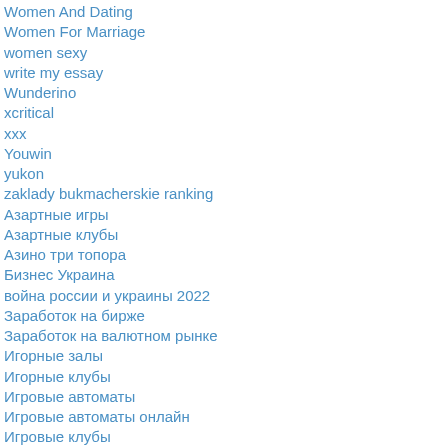Women And Dating
Women For Marriage
women sexy
write my essay
Wunderino
xcritical
xxx
Youwin
yukon
zaklady bukmacherskie ranking
Азартные игры
Азартные клубы
Азино три топора
Бизнес Украина
война россии и украины 2022
Заработок на бирже
Заработок на валютном рынке
Игорные залы
Игорные клубы
Игровые автоматы
Игровые автоматы онлайн
Игровые клубы